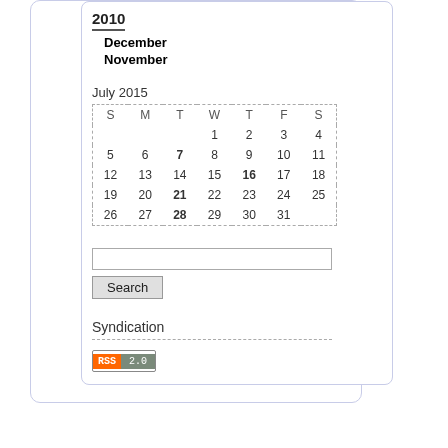2010
December
November
| S | M | T | W | T | F | S |
| --- | --- | --- | --- | --- | --- | --- |
|  |  |  | 1 | 2 | 3 | 4 |
| 5 | 6 | 7 | 8 | 9 | 10 | 11 |
| 12 | 13 | 14 | 15 | 16 | 17 | 18 |
| 19 | 20 | 21 | 22 | 23 | 24 | 25 |
| 26 | 27 | 28 | 29 | 30 | 31 |  |
Search
Syndication
[Figure (other): RSS 2.0 badge with orange RSS label and gray 2.0 label]